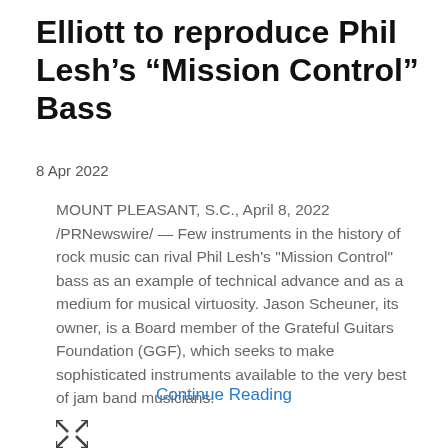Elliott to reproduce Phil Lesh's “Mission Control” Bass
8 Apr 2022
MOUNT PLEASANT, S.C., April 8, 2022 /PRNewswire/ — Few instruments in the history of rock music can rival Phil Lesh's "Mission Control" bass as an example of technical advance and as a medium for musical virtuosity. Jason Scheuner, its owner, is a Board member of the Grateful Guitars Foundation (GGF), which seeks to make sophisticated instruments available to the very best of jam band musicians.
Continue Reading